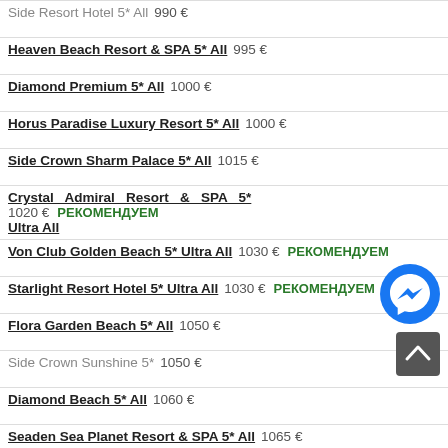Side Resort Hotel 5* All — 990 €
Heaven Beach Resort & SPA 5* All — 995 €
Diamond Premium 5* All — 1000 €
Horus Paradise Luxury Resort 5* All — 1000 €
Side Crown Sharm Palace 5* All — 1015 €
Crystal Admiral Resort & SPA 5* Ultra All — 1020 € РЕКОМЕНДУЕМ
Von Club Golden Beach 5* Ultra All — 1030 € РЕКОМЕНДУЕМ
Starlight Resort Hotel 5* Ultra All — 1030 € РЕКОМЕНДУЕМ
Flora Garden Beach 5* All — 1050 €
Side Crown Sunshine 5* — 1050 €
Diamond Beach 5* All — 1060 €
Seaden Sea Planet Resort & SPA 5* All — 1065 €
Seaden Sea World Resort & SPA 5* All — 1065 € РЕКОМЕНДУЕМ
Von Resort Golden Coast 5* All — 1090 € РЕКОМЕНДУЕМ
Turan Prince Hotel 5* All — 1090 € РЕКОМЕНДУЕМ
Villa Side Residence Hotel 5* Ultra All — 1105 €
Ayda Deluxe Resort Hotel Сортир 5*